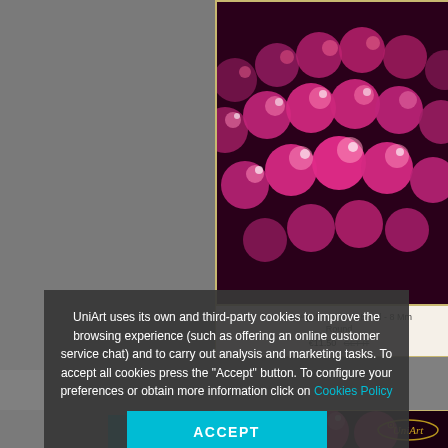[Figure (photo): Background screenshot of a jewelry/beads e-commerce website (UniArt) showing pink/fuchsia agate faceted beads on product cards with gray background]
UniArt uses its own and third-party cookies to improve the browsing experience (such as offering an online customer service chat) and to carry out analysis and marketing tasks. To accept all cookies press the "Accept" button. To configure your preferences or obtain more information click on Cookies Policy
ACCEPT
Fuchsia Agate Faceted Bead - 8 Mm Round
€11.50
CREATE A WHOLESALE ACCOUNT